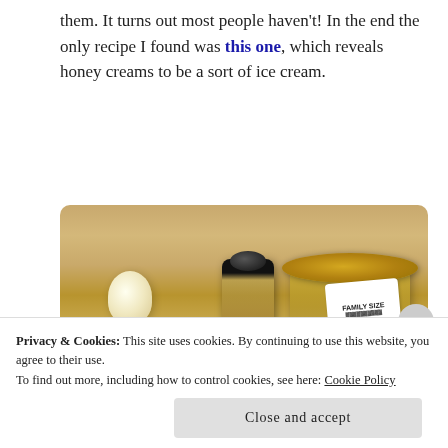them. It turns out most people haven't! In the end the only recipe I found was this one, which reveals honey creams to be a sort of ice cream.
[Figure (photo): Photo of baking/cooking ingredients on a wooden table: a small white candle, a metal bowl with yellow mixture, a spoon, a small glass bottle with black cap, and a large jar with gold lid labeled FAMILY SIZE]
Privacy & Cookies: This site uses cookies. By continuing to use this website, you agree to their use.
To find out more, including how to control cookies, see here: Cookie Policy
Close and accept